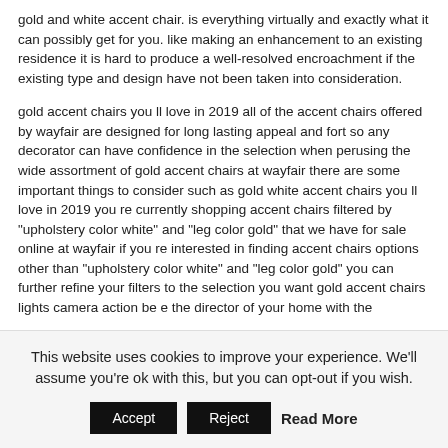gold and white accent chair. is everything virtually and exactly what it can possibly get for you. like making an enhancement to an existing residence it is hard to produce a well-resolved encroachment if the existing type and design have not been taken into consideration.
gold accent chairs you ll love in 2019 all of the accent chairs offered by wayfair are designed for long lasting appeal and fort so any decorator can have confidence in the selection when perusing the wide assortment of gold accent chairs at wayfair there are some important things to consider such as gold white accent chairs you ll love in 2019 you re currently shopping accent chairs filtered by "upholstery color white" and "leg color gold" that we have for sale online at wayfair if you re interested in finding accent chairs options other than "upholstery color white" and "leg color gold" you can further refine your filters to the selection you want gold accent chairs lights camera action be e the director of your home with the
This website uses cookies to improve your experience. We'll assume you're ok with this, but you can opt-out if you wish.